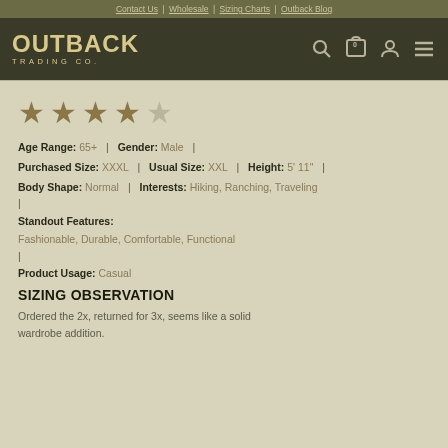Contact Us | Wholesale | Sizing Charts | Outback Blog
[Figure (logo): Outback Trading Co. logo in gold text on dark olive background with search, cart, account, and menu icons]
[Figure (other): 4 out of 5 stars rating (4 filled stars, 1 empty star)]
Age Range: 65+ | Gender: Male |
Purchased Size: XXXL | Usual Size: XXL | Height: 5' 11" |
Body Shape: Normal | Interests: Hiking, Ranching, Traveling |
Standout Features:
Fashionable, Durable, Comfortable, Functional |
Product Usage: Casual
SIZING OBSERVATION
Ordered the 2x, returned for 3x, seems like a solid wardrobe addition.